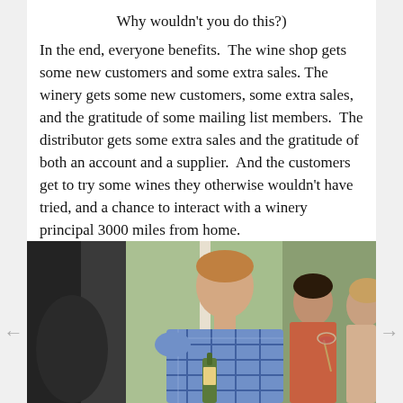Why wouldn't you do this?)
In the end, everyone benefits.  The wine shop gets some new customers and some extra sales.  The winery gets some new customers, some extra sales, and the gratitude of some mailing list members.  The distributor gets some extra sales and the gratitude of both an account and a supplier.  And the customers get to try some wines they otherwise wouldn't have tried, and a chance to interact with a winery principal 3000 miles from home.
[Figure (photo): A man in a blue plaid shirt stands near a window with green foliage outside, holding a wine bottle, while two women to his right listen, one holding a wine glass.]